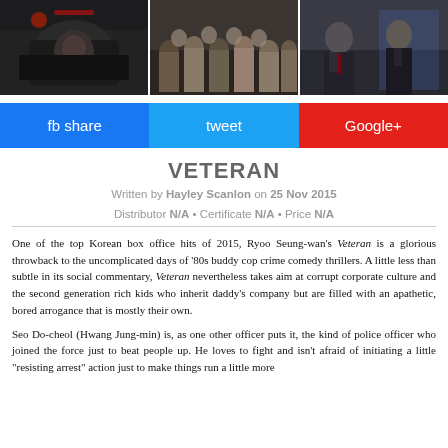[Figure (photo): Film strip collage showing scenes from the movie Veteran — left panel shows a man in a car, center panel shows a crowd of people, right panel shows men in suits]
fb share
tweet
Google+
VETERAN
Written by Hayley Scanlon on 25 Nov 2015
Distributor N/A • Certificate N/A • Price N/A
One of the top Korean box office hits of 2015, Ryoo Seung-wan's Veteran is a glorious throwback to the uncomplicated days of '80s buddy cop crime comedy thrillers. A little less than subtle in its social commentary, Veteran nevertheless takes aim at corrupt corporate culture and the second generation rich kids who inherit daddy's company but are filled with an apathetic, bored arrogance that is mostly their own.
Seo Do-cheol (Hwang Jung-min) is, as one other officer puts it, the kind of police officer who joined the force just to beat people up. He loves to fight and isn't afraid of initiating a little "resisting arrest" action just to make things run a little more